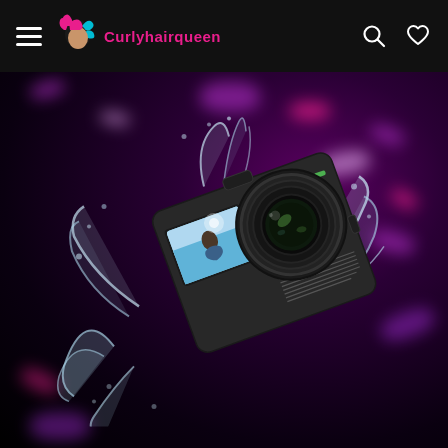Curlyhairqueen — navigation header with hamburger menu, logo, search and wishlist icons
[Figure (photo): DJI Osmo Action camera emerging from a water splash against a dark purple bokeh background. The camera shows a rear touchscreen display with a person in water, a large front lens, and the text 'OSMO ACTION' on the side.]